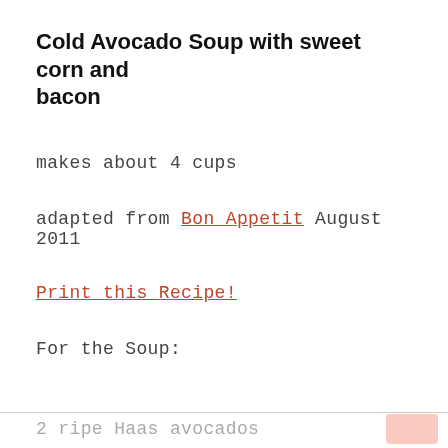Cold Avocado Soup with sweet corn and bacon
makes about 4 cups
adapted from Bon Appetit August 2011
Print this Recipe!
For the Soup:
2 ripe Haas avocados